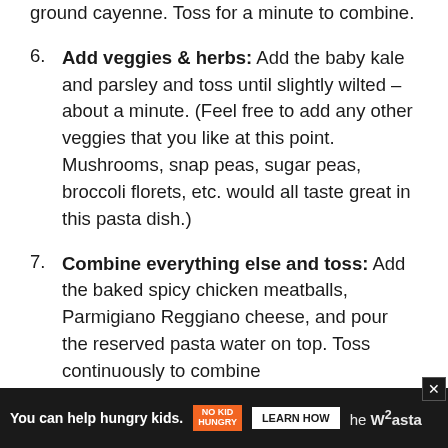ground cayenne. Toss for a minute to combine.
6. Add veggies & herbs: Add the baby kale and parsley and toss until slightly wilted – about a minute. (Feel free to add any other veggies that you like at this point. Mushrooms, snap peas, sugar peas, broccoli florets, etc. would all taste great in this pasta dish.)
7. Combine everything else and toss: Add the baked spicy chicken meatballs, Parmigiano Reggiano cheese, and pour the reserved pasta water on top. Toss continuously to combine
You can help hungry kids. NO KID HUNGRY LEARN HOW